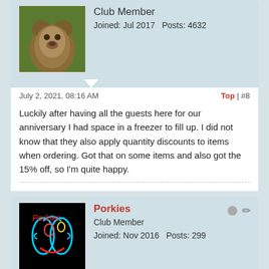Club Member
Joined: Jul 2017  Posts: 4632
July 2, 2021, 08:16 AM
Top | #8
Luckily after having all the guests here for our anniversary I had space in a freezer to fill up. I did not know that they also apply quantity discounts to items when ordering. Got that on some items and also got the 15% off, so I'm quite happy.
Porkies
Club Member
Joined: Nov 2016  Posts: 299
July 2, 2021, 04:50 PM
Top | #9
You beat me to it 🐻 @Huskee !! Made my order just a few